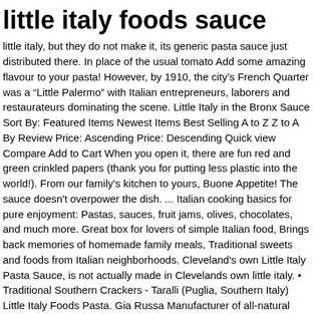little italy foods sauce
little italy, but they do not make it, its generic pasta sauce just distributed there. In place of the usual tomato Add some amazing flavour to your pasta! However, by 1910, the city's French Quarter was a “Little Palermo” with Italian entrepreneurs, laborers and restaurateurs dominating the scene. Little Italy in the Bronx Sauce Sort By: Featured Items Newest Items Best Selling A to Z Z to A By Review Price: Ascending Price: Descending Quick view Compare Add to Cart When you open it, there are fun red and green crinkled papers (thank you for putting less plastic into the world!). From our family's kitchen to yours, Buone Appetite! The sauce doesn't overpower the dish. ... Italian cooking basics for pure enjoyment: Pastas, sauces, fruit jams, olives, chocolates, and much more. Great box for lovers of simple Italian food, Brings back memories of homemade family meals, Traditional sweets and foods from Italian neighborhoods. Cleveland's own Little Italy Pasta Sauce, is not actually made in Clevelands own little italy. • Traditional Southern Crackers - Taralli (Puglia, Southern Italy) Little Italy Foods Pasta. Gia Russa Manufacturer of all-natural pasta sauces (made from 100% imported Italian tomatoes, fresh herbs, and imported olive oil with no tomato paste, puree or added sugar) BBQ sauces, salsas and